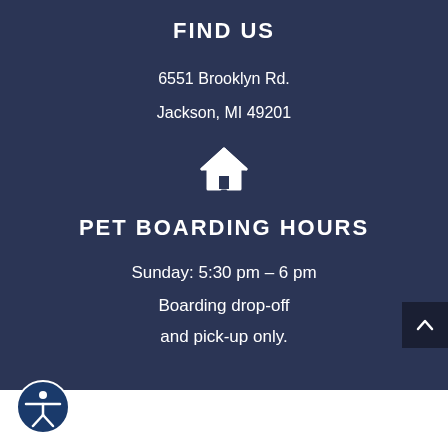FIND US
6551 Brooklyn Rd.
Jackson, MI 49201
[Figure (illustration): White house/home icon]
PET BOARDING HOURS
Sunday: 5:30 pm – 6 pm
Boarding drop-off and pick-up only.